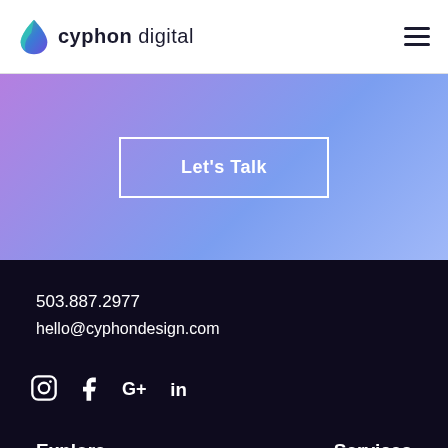cyphon digital
[Figure (other): Purple to blue gradient banner with a white-bordered CTA button reading "Let's Talk"]
Let's Talk
503.887.2977
hello@cyphondesign.com
[Figure (other): Social media icons: Instagram, Facebook, Google+, LinkedIn]
Explore
Services